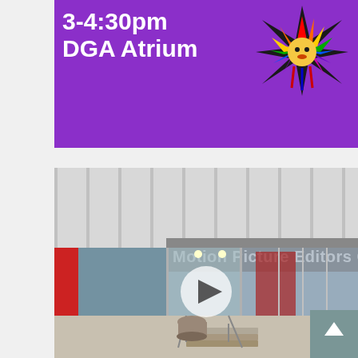[Figure (infographic): Purple banner with white bold text reading '3-4:30pm' and 'DGA Atrium', with a colorful rainbow sunburst/kachina logo in the upper right]
[Figure (photo): Exterior photo of the Motion Picture Editors Guild building entrance, showing glass doors, steps, a potted plant, metal railings, and a white play button overlay indicating a video. A scroll-up button appears in the bottom right corner.]